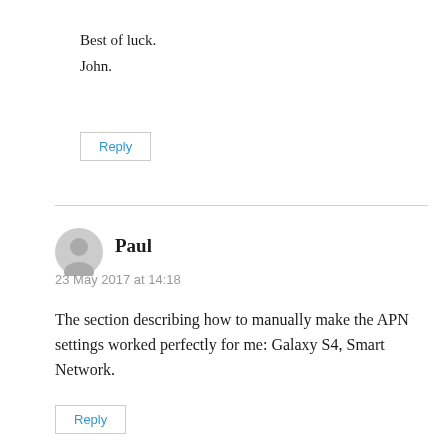Best of luck.
John.
Reply
Paul
23 May 2017 at 14:18
The section describing how to manually make the APN settings worked perfectly for me: Galaxy S4, Smart Network.
Reply